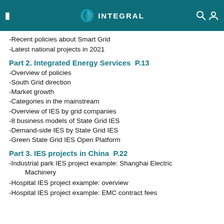INTEGRAL
-Recent policies about Smart Grid
-Latest national projects in 2021
Part 2. Integrated Energy Services  P.13
-Overview of policies
-South Grid direction
-Market growth
-Categories in the mainstream
-Overview of IES by grid companies
-8 business models of State Grid IES
-Demand-side IES by State Grid IES
-Green State Grid IES Open Platform
Part 3. IES projects in China  P.22
-Industrial park IES project example: Shanghai Electric Machinery
-Hospital IES project example: overview
-Hospital IES project example: EMC contract fees